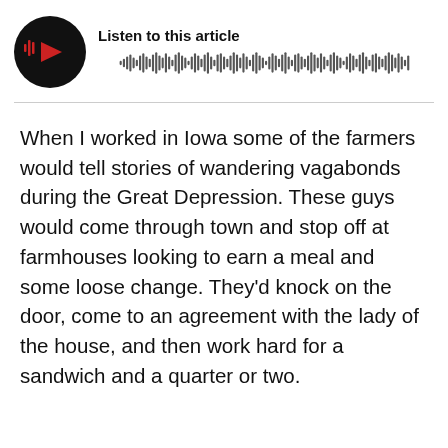[Figure (other): Audio player widget with circular black play button showing red play icon with sound wave lines, title 'Listen to this article', and a waveform bar visualization]
When I worked in Iowa some of the farmers would tell stories of wandering vagabonds during the Great Depression. These guys would come through town and stop off at farmhouses looking to earn a meal and some loose change. They'd knock on the door, come to an agreement with the lady of the house, and then work hard for a sandwich and a quarter or two.